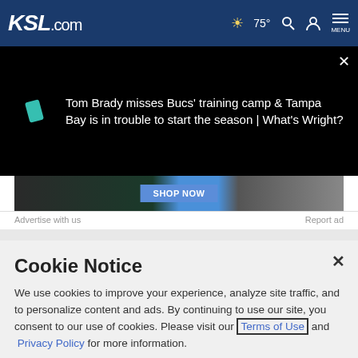KSL.com — 75° Search Account MENU
[Figure (screenshot): Video thumbnail area on black background with teal shape and text: Tom Brady misses Bucs' training camp & Tampa Bay is in trouble to start the season | What's Wright?]
[Figure (screenshot): Advertisement banner with dark background and SHOP NOW button]
Advertise with us    Report ad
Cookie Notice
We use cookies to improve your experience, analyze site traffic, and to personalize content and ads. By continuing to use our site, you consent to our use of cookies. Please visit our Terms of Use and Privacy Policy for more information.
Continue